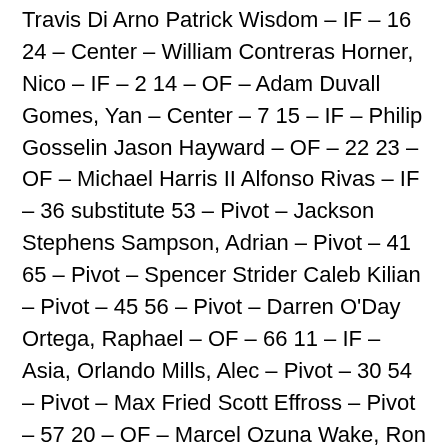Travis Di Arno Patrick Wisdom – IF – 16 24 – Center – William Contreras Horner, Nico – IF – 2 14 – OF – Adam Duvall Gomes, Yan – Center – 7 15 – IF – Philip Gosselin Jason Hayward – OF – 22 23 – OF – Michael Harris II Alfonso Rivas – IF – 36 substitute 53 – Pivot – Jackson Stephens Sampson, Adrian – Pivot – 41 65 – Pivot – Spencer Strider Caleb Kilian – Pivot – 45 56 – Pivot – Darren O'Day Ortega, Raphael – OF – 66 11 – IF – Asia, Orlando Mills, Alec – Pivot – 30 54 – Pivot – Max Fried Scott Effross – Pivot – 57 20 – OF – Marcel Ozuna Wake, Ron – Pivot – 50 47 – Pivot – Jesus Cruz PJ Higgins – Center – 48 52 – Pivot – Dylan Lee Steele, Justin – Pivot – 35 32 – Pivot –